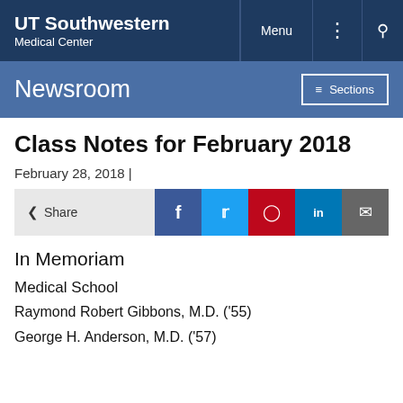UT Southwestern Medical Center | Menu | Sections
Class Notes for February 2018
February 28, 2018 |
[Figure (infographic): Share bar with social media buttons: Facebook, Twitter, Pinterest, LinkedIn, Email]
In Memoriam
Medical School
Raymond Robert Gibbons, M.D. ('55)
George H. Anderson, M.D. ('57)